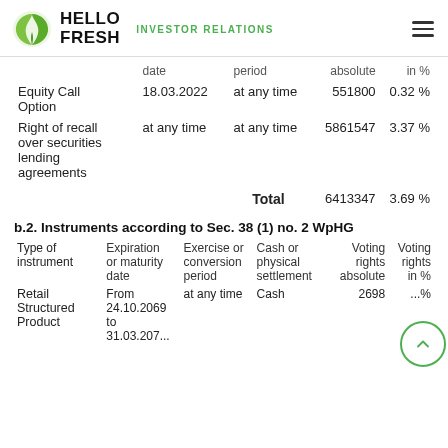HelloFresh INVESTOR RELATIONS
| Type of instrument | Expiration or maturity date | Exercise or conversion period | Voting rights absolute | Voting rights in % |
| --- | --- | --- | --- | --- |
| Equity Call Option | 18.03.2022 | at any time | 551800 | 0.32 % |
| Right of recall over securities lending agreements | at any time | at any time | 5861547 | 3.37 % |
| Total |  |  | 6413347 | 3.69 % |
b.2. Instruments according to Sec. 38 (1) no. 2 WpHG
| Type of instrument | Expiration or maturity date | Exercise or conversion period | Cash or physical settlement | Voting rights absolute | Voting rights in % |
| --- | --- | --- | --- | --- | --- |
| Retail Structured Product | From 24.10.2069 to 31.03.2074 | at any time | Cash | 2698... | ...% |